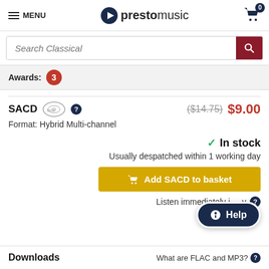MENU | prestomusic | Cart: 0
Search Classical
Awards: 3
SACD  ($14.75) $9.00
Format: Hybrid Multi-channel
✓ In stock
Usually despatched within 1 working day
Add SACD to basket
Listen immediately...
Downloads
What are FLAC and MP3?